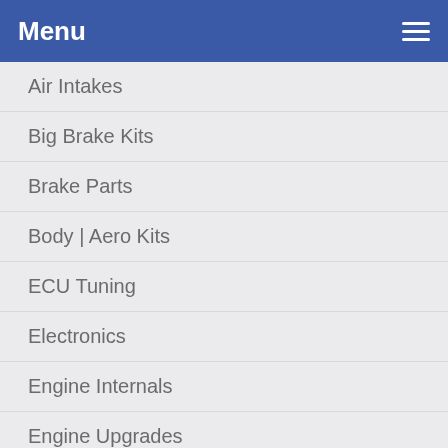Menu
Air Intakes
Big Brake Kits
Brake Parts
Body | Aero Kits
ECU Tuning
Electronics
Engine Internals
Engine Upgrades
Exhaust Parts
Exterior
Fuel Components
Gauges
Interior
Pulleys